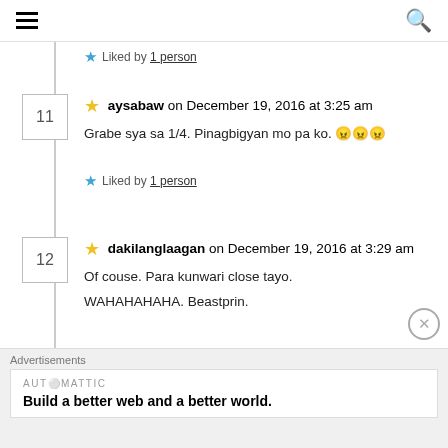☰  🔍
⭐ Liked by 1 person
⭐ aysabaw on December 19, 2016 at 3:25 am
Grabe sya sa 1/4. Pinagbigyan mo pa ko. 😬😬😬
⭐ Liked by 1 person
⭐ dakilanglaagan on December 19, 2016 at 3:29 am
Of couse. Para kunwari close tayo.
WAHAHAHAHA. Beastprin.
Advertisements
AUTOMATTIC
Build a better web and a better world.